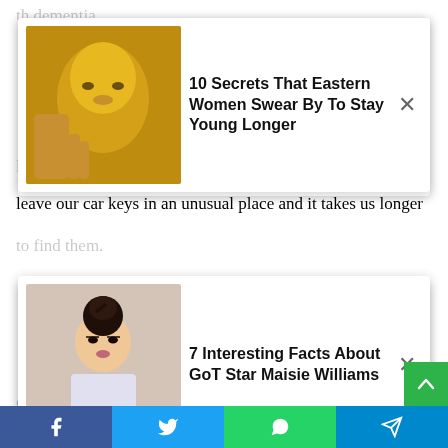[Figure (screenshot): Ad card overlay: woman with gold face mask. Title: '10 Secrets That Eastern Women Swear By To Stay Young Longer'. Close button (×).]
leave our car keys in an unusual place and it takes us longer to find them.
[Figure (screenshot): Ad card overlay: young woman with dark makeup and updo hairstyle. Title: '7 Interesting Facts About GoT Star Maisie Williams'. Close button (×).]
often takes you longer to recall, or you really have to think, What did I do? Where have I been? What distracted me? Did I have to let the dog out? And then you find the key in the back door.
“The process of retrieving that information is only slightly slower in people as they get older.
“In dementia, someone may not be able to recall that information and what they did when they entered the house.
[Figure (infographic): Social share bar at bottom with Facebook (blue), Twitter (light blue), WhatsApp (green), Telegram (blue) icons. Green scroll-to-top button.]